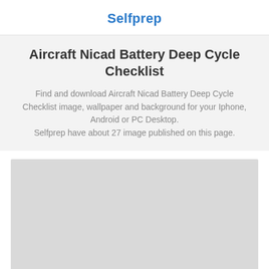Selfprep
Aircraft Nicad Battery Deep Cycle Checklist
Find and download Aircraft Nicad Battery Deep Cycle Checklist image, wallpaper and background for your Iphone, Android or PC Desktop. Selfprep have about 27 image published on this page.
[Figure (other): Light gray placeholder rectangle representing an image area]